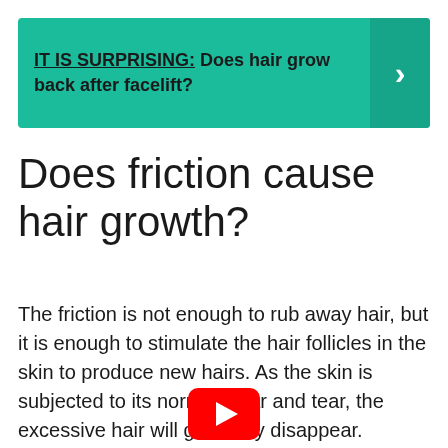[Figure (infographic): Teal/green banner with text 'IT IS SURPRISING: Does hair grow back after facelift?' and a right-arrow chevron on the right side]
Does friction cause hair growth?
The friction is not enough to rub away hair, but it is enough to stimulate the hair follicles in the skin to produce new hairs. As the skin is subjected to its normal wear and tear, the excessive hair will gradually disappear.
[Figure (logo): YouTube play button icon (red rounded rectangle with white triangle)]